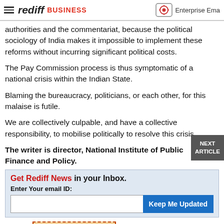rediff BUSINESS | Enterprise Ema
authorities and the commentariat, because the political sociology of India makes it impossible to implement these reforms without incurring significant political costs.
The Pay Commission process is thus symptomatic of a national crisis within the Indian State.
Blaming the bureaucracy, politicians, or each other, for this malaise is futile.
We are collectively culpable, and have a collective responsibility, to mobilise politically to resolve this crisis.
The writer is director, National Institute of Public Finance and Policy.
Get Rediff News in your Inbox. Enter Your email ID: Keep Me Updated
Source: Business Standard